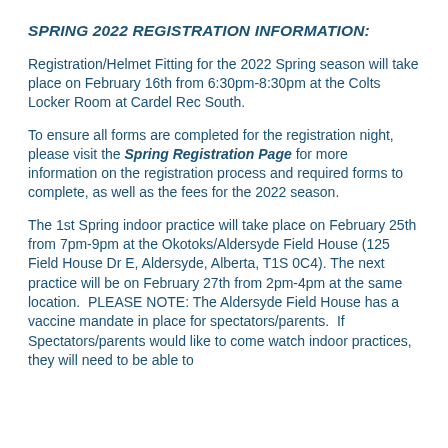SPRING 2022 REGISTRATION INFORMATION:
Registration/Helmet Fitting for the 2022 Spring season will take place on February 16th from 6:30pm-8:30pm at the Colts Locker Room at Cardel Rec South.
To ensure all forms are completed for the registration night, please visit the Spring Registration Page for more information on the registration process and required forms to complete, as well as the fees for the 2022 season.
The 1st Spring indoor practice will take place on February 25th from 7pm-9pm at the Okotoks/Aldersyde Field House (125 Field House Dr E, Aldersyde, Alberta, T1S 0C4). The next practice will be on February 27th from 2pm-4pm at the same location.  PLEASE NOTE: The Aldersyde Field House has a vaccine mandate in place for spectators/parents.  If Spectators/parents would like to come watch indoor practices, they will need to be able to